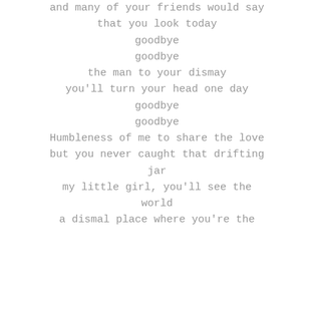and many of your friends would say
that you look today
goodbye
goodbye
the man to your dismay
you'll turn your head one day
goodbye
goodbye
Humbleness of me to share the love
but you never caught that drifting
jar
my little girl, you'll see the
world
a dismal place where you're the